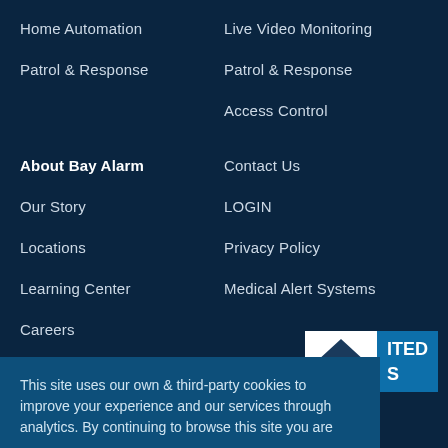Home Automation
Live Video Monitoring
Patrol & Response
Patrol & Response
Access Control
About Bay Alarm
Contact Us
Our Story
LOGIN
Locations
Privacy Policy
Learning Center
Medical Alert Systems
Careers
This site uses our own & third-party cookies to improve your experience and our services through analytics. By continuing to browse this site you are